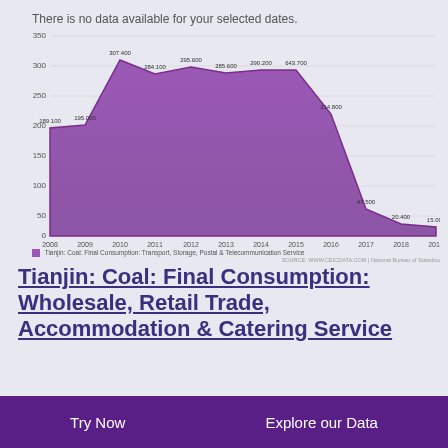There is no data available for your selected dates.
[Figure (area-chart): Tianjin: Coal: Final Consumption: Transport, Storage, Postal & Telecommunication Service]
Tianjin: Coal: Final Consumption: Transport, Storage, Postal & Telecommunication Service
SOURCE: WWW.CEICDATA.COM | National Bureau of Statistics
Tianjin: Coal: Final Consumption: Wholesale, Retail Trade, Accommodation & Catering Service
Try Now    Explore our Data